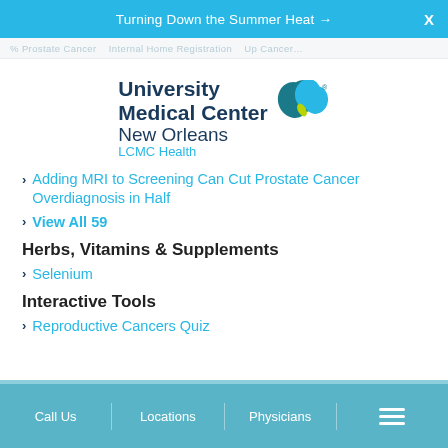Turning Down the Summer Heat →  X
% Prostate Cancer  |  Internal Home Registration  |  Up Cancer...
[Figure (logo): University Medical Center New Orleans LCMC Health logo with teal heart/leaf icon]
> Adding MRI to Screening Can Cut Prostate Cancer Overdiagnosis in Half
> View All 59
Herbs, Vitamins & Supplements
> Selenium
Interactive Tools
> Reproductive Cancers Quiz
Call Us   Locations   Physicians   ☰